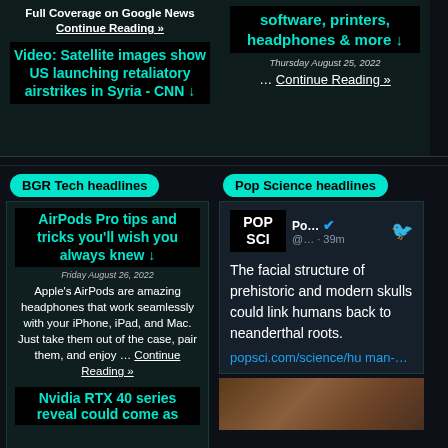Full Coverage on Google News Continue Reading »
Video: Satellite images show US launching retaliatory airstrikes in Syria - CNN ↓
software, printers, headphones & more ↓
Thursday August 25, 2022
... Continue Reading »
BGR Tech headlines
Pop Science headlines
AirPods Pro tips and tricks you'll wish you always knew ↓
Friday August 26, 2022
Apple's AirPods are amazing headphones that work seamlessly with your iPhone, iPad, and Mac. Just take them out of the case, pair them, and enjoy … Continue Reading »
Nvidia RTX 40 series reveal could come as
Po... @... · 39m
The facial structure of prehistoric and modern skulls could link humans back to neanderthal roots.
popsci.com/science/human-...
[Figure (photo): Photo of a prehistoric/neanderthal human face reconstruction with reddish-brown hair]